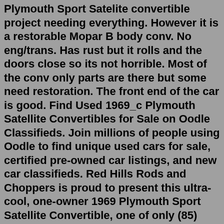Plymouth Sport Satelite convertible project needing everything. However it is a restorable Mopar B body conv. No eng/trans. Has rust but it rolls and the doors close so its not horrible. Most of the conv only parts are there but some need restoration. The front end of the car is good. Find Used 1969_c Plymouth Satellite Convertibles for Sale on Oodle Classifieds. Join millions of people using Oodle to find unique used cars for sale, certified pre-owned car listings, and new car classifieds. Red Hills Rods and Choppers is proud to present this ultra-cool, one-owner 1969 Plymouth Sport Satellite Convertible, one of only (85) built with the 383/335 hp Super Commando V8, and one of only (44) with A833 4-Speed Transmission. The original Fender Tag decodes as follows: First Row (E63) 383/335 hp V8 w/ 4 Barrel, (D21)A833 Heavy Duty 4 ... The Fury name was moved to Plymouth's mid-size models for 1975, at which time the Satellite name was discontinued. Plymouth Satellite FAQs Model years for Plymouth Satellite (1965 to 1974) 1965 1966 1967 1968 1969 1970 1971 1972 1973 1974 For Sale 10 Avg